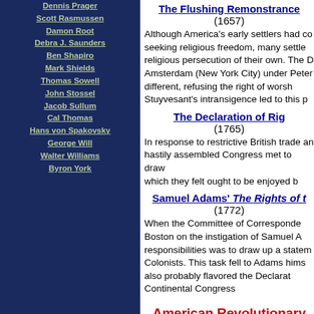Dennis Prager
Scott Rasmussen
Damon Root
Debra J. Saunders
Ben Shapiro
Mark Shields
Thomas Sowell
John Stossel
Jacob Sullum
Cal Thomas
Hans von Spakovsky
George Will
Walter Williams
Byron York
The Flushing Remonstrance (1657)
Although America's early settlers had coming seeking religious freedom, many settlers religious persecution of their own. The D Amsterdam (New York City) under Peter different, refusing the right of worship Stuyvesant's intransigence led to this p
The Declaration of Rights (1765)
In response to restrictive British trade and a hastily assembled Congress met to draw up which they felt ought to be enjoyed by
Samuel Adams' The Rights of the Colonists (1772)
When the Committee of Correspondence in Boston on the instigation of Samuel Adams responsibilities was to draw up a statement Colonists. This task fell to Adams himself also probably flavored the Declaration Continental Congress
American Revolutionary Era